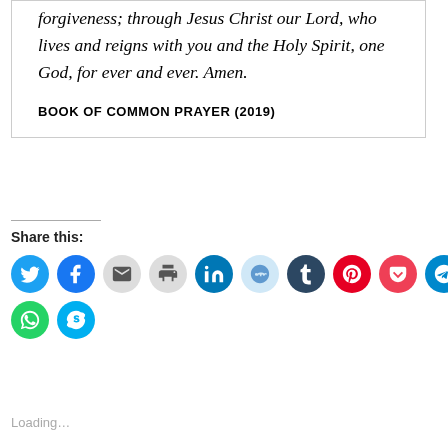forgiveness; through Jesus Christ our Lord, who lives and reigns with you and the Holy Spirit, one God, for ever and ever. Amen.
BOOK OF COMMON PRAYER (2019)
Share this:
Loading...